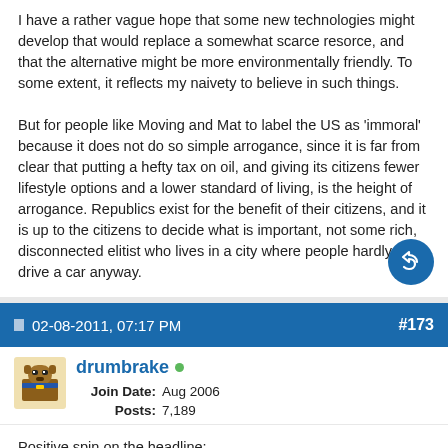I have a rather vague hope that some new technologies might develop that would replace a somewhat scarce resorce, and that the alternative might be more environmentally friendly. To some extent, it reflects my naivety to believe in such things.

But for people like Moving and Mat to label the US as 'immoral' because it does not do so simple arrogance, since it is far from clear that putting a hefty tax on oil, and giving its citizens fewer lifestyle options and a lower standard of living, is the height of arrogance. Republics exist for the benefit of their citizens, and it is up to the citizens to decide what is important, not some rich, disconnected elitist who lives in a city where people hardly ever drive a car anyway.
02-08-2011, 07:17 PM   #173
drumbrake   Join Date: Aug 2006   Posts: 7,189
Positive spin on the headline: